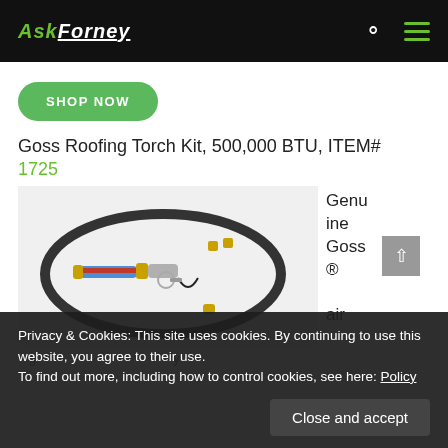Ask Forney
SHOP NOW
Goss Roofing Torch Kit, 500,000 BTU, ITEM# 1725
[Figure (photo): Photo of Goss Roofing Torch Kit with hose coiled in an oval, showing torch handle, connectors, and fittings on a white background]
Genuine Goss ® air
Privacy & Cookies: This site uses cookies. By continuing to use this website, you agree to their use.
To find out more, including how to control cookies, see here: Policy
Close and accept